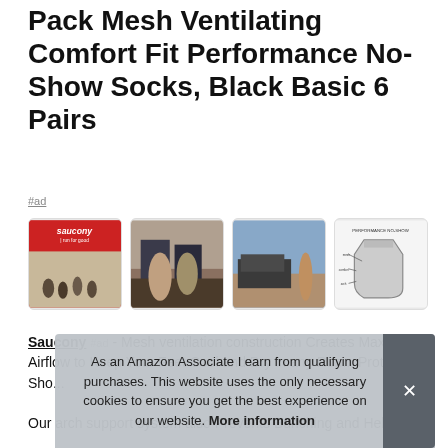Pack Mesh Ventilating Comfort Fit Performance No-Show Socks, Black Basic 6 Pairs
#ad
[Figure (photo): Four product thumbnail images: 1) Saucony brand logo with runners on desert road, 2) Two people sitting at car trunk putting on socks, 3) Person running near SUV on desert road, 4) Technical diagram of performance no-show sock]
Saucony #ad - Mesh ventilation construction Creates Maximum Airflow to Keep Your Feet Cool and Dry in any Run... Prot... Sho...
Our arch support system also Prevents Bunching and Helps
As an Amazon Associate I earn from qualifying purchases. This website uses the only necessary cookies to ensure you get the best experience on our website. More information